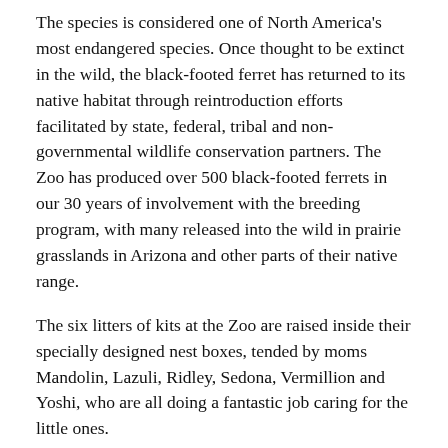The species is considered one of North America's most endangered species. Once thought to be extinct in the wild, the black-footed ferret has returned to its native habitat through reintroduction efforts facilitated by state, federal, tribal and non-governmental wildlife conservation partners. The Zoo has produced over 500 black-footed ferrets in our 30 years of involvement with the breeding program, with many released into the wild in prairie grasslands in Arizona and other parts of their native range.
The six litters of kits at the Zoo are raised inside their specially designed nest boxes, tended by moms Mandolin, Lazuli, Ridley, Sedona, Vermillion and Yoshi, who are all doing a fantastic job caring for the little ones.
“Many of these kits will likely go to release sites in North America, as recommended by the US Fish and Wildlife…